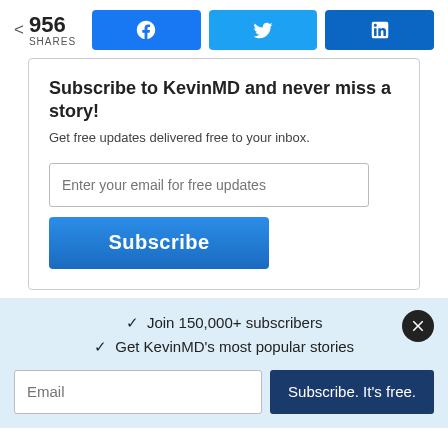956 SHARES
[Figure (infographic): Social share bar with Facebook, Twitter, and LinkedIn buttons]
Subscribe to KevinMD and never miss a story!
Get free updates delivered free to your inbox.
[Figure (screenshot): Email input field with placeholder 'Enter your email for free updates' and a blue Subscribe button]
✓  Join 150,000+ subscribers
✓  Get KevinMD's most popular stories
[Figure (screenshot): Email input field with placeholder 'Email' and a dark blue 'Subscribe. It's free.' button]